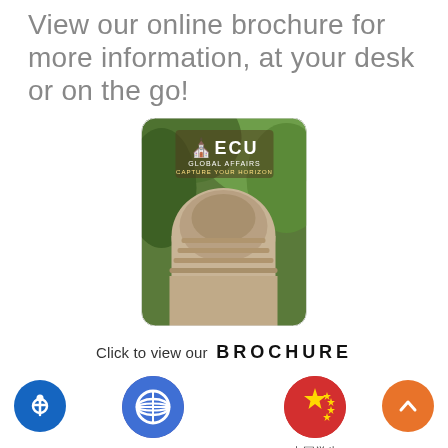View our online brochure for more information, at your desk or on the go!
[Figure (photo): ECU Global Affairs brochure cover showing a domed building with trees in background and ECU Global Affairs logo]
Click to view our  BROCHURE
[Figure (illustration): Blue circle icon with AT&T-style globe/signal lines for Worldwide Students (.com)]
Worldwide Students (.com)
[Figure (illustration): Red circle with Chinese flag stars for 中国学生 (.cn)]
中国学生 (.cn)